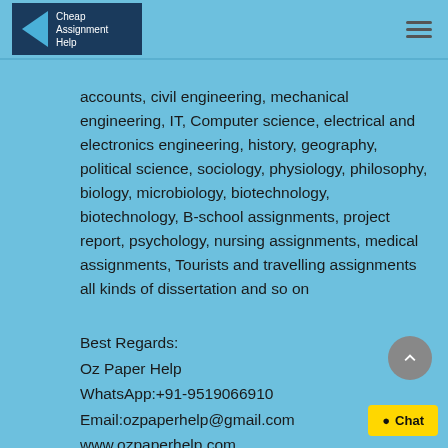[Figure (logo): Cheap Assignment Help logo - dark blue box with left-pointing triangle and white text]
accounts, civil engineering, mechanical engineering, IT, Computer science, electrical and electronics engineering, history, geography, political science, sociology, physiology, philosophy, biology, microbiology, biotechnology, biotechnology, B-school assignments, project report, psychology, nursing assignments, medical assignments, Tourists and travelling assignments all kinds of dissertation and so on
Best Regards:
Oz Paper Help
WhatsApp:+91-9519066910
Email:ozpaperhelp@gmail.com
www.ozpaperhelp.com
www.cheapassignmenthelp.co.uk